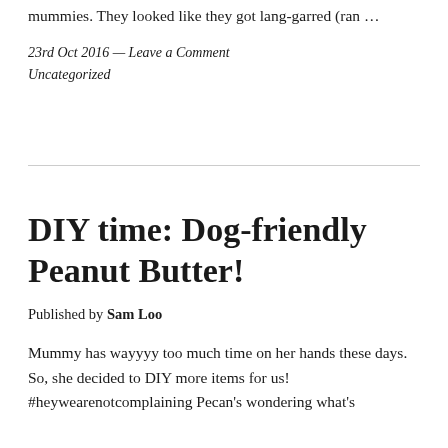mummies. They looked like they got lang-garred (ran …
23rd Oct 2016 — Leave a Comment
Uncategorized
DIY time: Dog-friendly Peanut Butter!
Published by Sam Loo
Mummy has wayyyy too much time on her hands these days. So, she decided to DIY more items for us! #heywearenotcomplaining Pecan's wondering what's